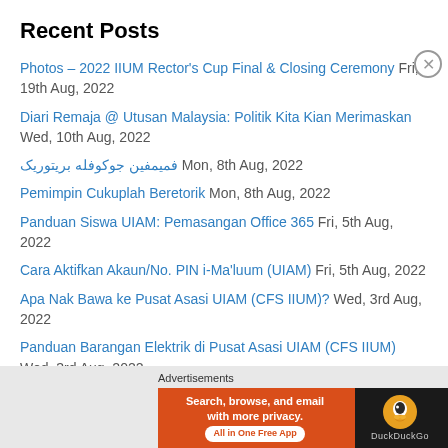Recent Posts
Photos – 2022 IIUM Rector's Cup Final & Closing Ceremony Fri, 19th Aug, 2022
Diari Remaja @ Utusan Malaysia: Politik Kita Kian Merimaskan Wed, 10th Aug, 2022
فميمفين جوكوفله بريتوريک Mon, 8th Aug, 2022
Pemimpin Cukuplah Beretorik Mon, 8th Aug, 2022
Panduan Siswa UIAM: Pemasangan Office 365 Fri, 5th Aug, 2022
Cara Aktifkan Akaun/No. PIN i-Ma'luum (UIAM) Fri, 5th Aug, 2022
Apa Nak Bawa ke Pusat Asasi UIAM (CFS IIUM)? Wed, 3rd Aug, 2022
Panduan Barangan Elektrik di Pusat Asasi UIAM (CFS IIUM) Wed, 3rd Aug, 2022
Panduan Pakaian Pusat Asasi UIAM (CFS IIUM) Wed, 3rd Aug, 2022
Khalid Ibrahim Meninggal Dunia Mon, 1st Aug, 2022
Advertisements
[Figure (screenshot): DuckDuckGo advertisement banner: 'Search, browse, and email with more privacy. All in One Free App' with DuckDuckGo logo on dark background]